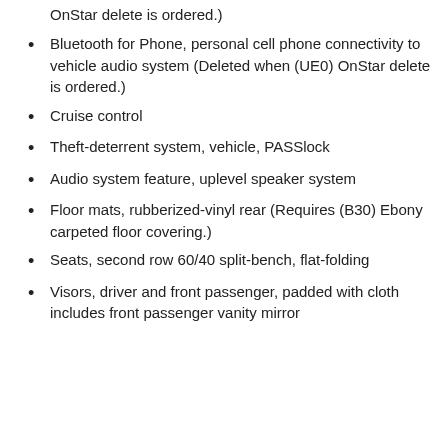OnStar delete is ordered.)
Bluetooth for Phone, personal cell phone connectivity to vehicle audio system (Deleted when (UE0) OnStar delete is ordered.)
Cruise control
Theft-deterrent system, vehicle, PASSlock
Audio system feature, uplevel speaker system
Floor mats, rubberized-vinyl rear (Requires (B30) Ebony carpeted floor covering.)
Seats, second row 60/40 split-bench, flat-folding
Visors, driver and front passenger, padded with cloth includes front passenger vanity mirror